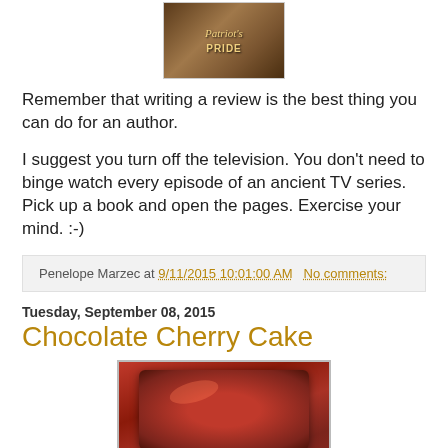[Figure (photo): Book cover showing Patriot's Pride title with decorative style]
Remember that writing a review is the best thing you can do for an author.
I suggest you turn off the television. You don't need to binge watch every episode of an ancient TV series. Pick up a book and open the pages. Exercise your mind. :-)
Penelope Marzec at 9/11/2015 10:01:00 AM   No comments:
Tuesday, September 08, 2015
Chocolate Cherry Cake
[Figure (photo): Photo of chocolate cherry cake on a red and white striped plate]